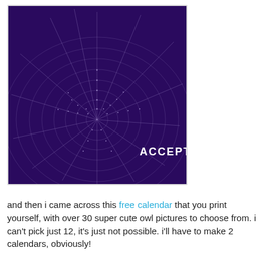[Figure (photo): Photo of a spider web with dew drops on a dark purple background. In the upper right corner there is an October calendar with the 11th circled. In the lower right it reads ACCEPT in white text.]
and then i came across this free calendar that you print yourself, with over 30 super cute owl pictures to choose from. i can't pick just 12, it's just not possible. i'll have to make 2 calendars, obviously!